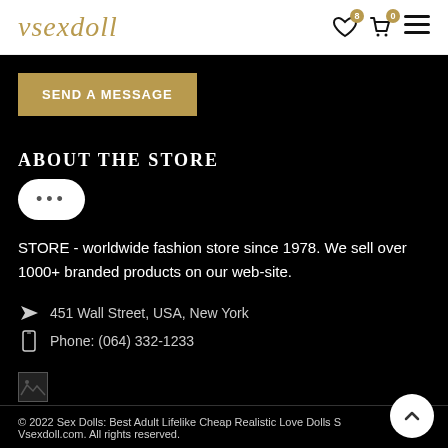vsexdoll
SEND A MESSAGE
ABOUT THE STORE
...
STORE - worldwide fashion store since 1978. We sell over 1000+ branded products on our web-site.
451 Wall Street, USA, New York
Phone: (064) 332-1233
[Figure (other): Broken image placeholder]
© 2022 Sex Dolls: Best Adult Lifelike Cheap Realistic Love Dolls S Vsexdoll.com. All rights reserved.